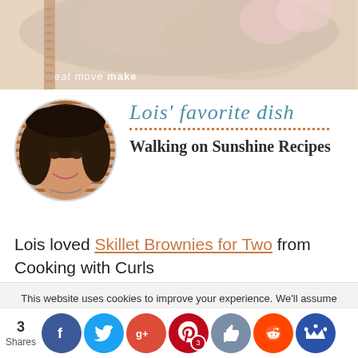[Figure (photo): Top banner photo showing food/dish with 'eat move make' watermark in lower left corner]
[Figure (photo): Circular portrait photo of Lois, a woman with dark curly hair smiling, next to cursive text 'Lois' favorite dish' with dotted line and 'Walking on Sunshine Recipes' in bold]
Lois loved Skillet Brownies for Two from Cooking with Curls
This website uses cookies to improve your experience. We'll assume you're ok with this, but you can opt-out if you wish.
3 Shares